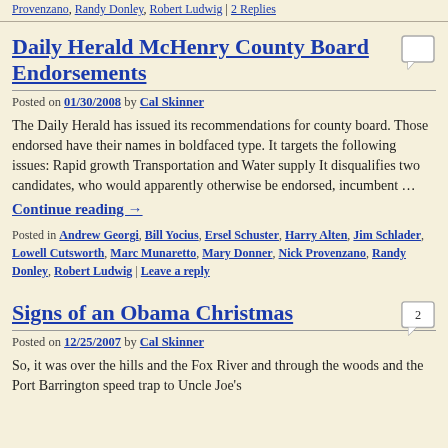Provenzano, Randy Donley, Robert Ludwig | 2 Replies
Daily Herald McHenry County Board Endorsements
Posted on 01/30/2008 by Cal Skinner
The Daily Herald has issued its recommendations for county board. Those endorsed have their names in boldfaced type. It targets the following issues: Rapid growth Transportation and Water supply It disqualifies two candidates, who would apparently otherwise be endorsed, incumbent …
Continue reading →
Posted in Andrew Georgi, Bill Yocius, Ersel Schuster, Harry Alten, Jim Schlader, Lowell Cutsworth, Marc Munaretto, Mary Donner, Nick Provenzano, Randy Donley, Robert Ludwig | Leave a reply
Signs of an Obama Christmas
Posted on 12/25/2007 by Cal Skinner
So, it was over the hills and the Fox River and through the woods and the Port Barrington speed trap to Uncle Joe's